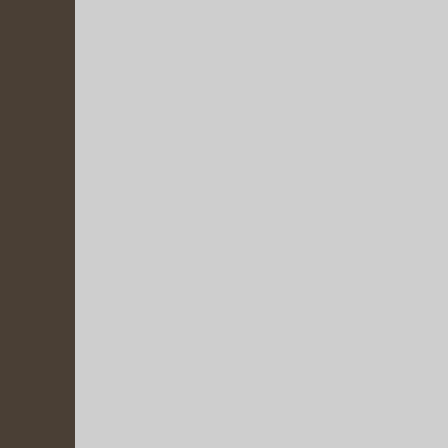You think this is a game about death. THE MOD, in that it is full of murders.
You think Machinations needs more gameplay. relied heavily on works like clockwork but elegant combination involves all play
You wish there was more Death. The success may pave ways
You are glad Ma a totally differen
(read the whole post)
...And I mentioned one other out how to do a personalize
As a special incentive for F cents to your pledge (at mo